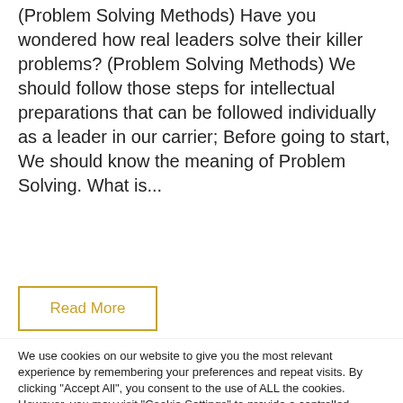(Problem Solving Methods) Have you wondered how real leaders solve their killer problems? (Problem Solving Methods) We should follow those steps for intellectual preparations that can be followed individually as a leader in our carrier; Before going to start, We should know the meaning of Problem Solving. What is...
Read More
We use cookies on our website to give you the most relevant experience by remembering your preferences and repeat visits. By clicking "Accept All", you consent to the use of ALL the cookies. However, you may visit "Cookie Settings" to provide a controlled consent. Please Also Check : "Privacy Policy" Page For More Details
Cookie Settings
Accept All